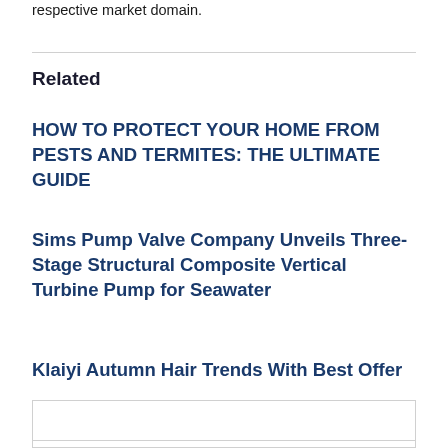respective market domain.
Related
HOW TO PROTECT YOUR HOME FROM PESTS AND TERMITES: THE ULTIMATE GUIDE
Sims Pump Valve Company Unveils Three-Stage Structural Composite Vertical Turbine Pump for Seawater
Klaiyi Autumn Hair Trends With Best Offer
Featured